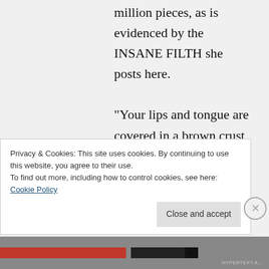million pieces, as is evidenced by the INSANE FILTH she posts here.

“Your lips and tongue are covered in a brown crust from constantly licking dumboldguy’s unwiped ass! LOL!”
Privacy & Cookies: This site uses cookies. By continuing to use this website, you agree to their use.
To find out more, including how to control cookies, see here: Cookie Policy
Close and accept